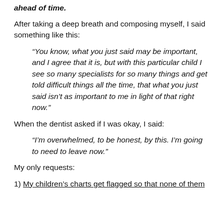ahead of time.
After taking a deep breath and composing myself, I said something like this:
“You know, what you just said may be important, and I agree that it is, but with this particular child I see so many specialists for so many things and get told difficult things all the time, that what you just said isn’t as important to me in light of that right now.”
When the dentist asked if I was okay, I said:
“I’m overwhelmed, to be honest, by this. I’m going to need to leave now.”
My only requests:
1) My children’s charts get flagged so that none of them